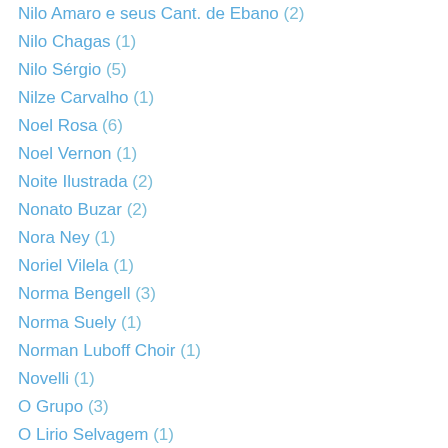Nilo Amaro e seus Cant. de Ebano (2)
Nilo Chagas (1)
Nilo Sérgio (5)
Nilze Carvalho (1)
Noel Rosa (6)
Noel Vernon (1)
Noite Ilustrada (2)
Nonato Buzar (2)
Nora Ney (1)
Noriel Vilela (1)
Norma Bengell (3)
Norma Suely (1)
Norman Luboff Choir (1)
Novelli (1)
O Grupo (3)
O Lirio Selvagem (1)
O Quarteto (2)
O Terço (1)
Octeto de César Camargo Mariano (1)
Odette Lara (1)